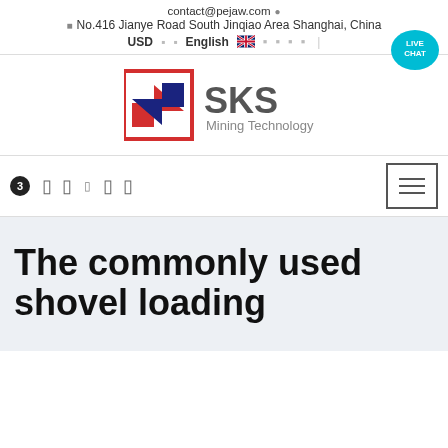contact@pejaw.com
No.416 Jianye Road South Jinqiao Area Shanghai, China
USD  English
[Figure (logo): SKS Mining Technology logo with red and blue geometric mark]
Navigation bar with cart icons and hamburger menu
The commonly used shovel loading